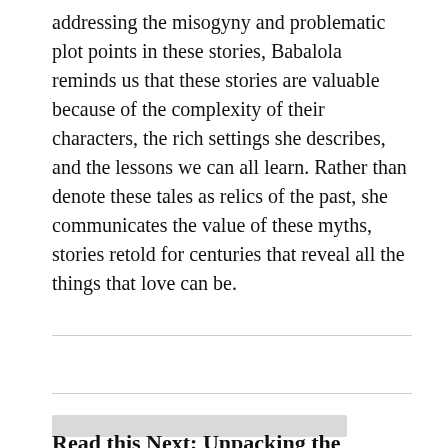addressing the misogyny and problematic plot points in these stories, Babalola reminds us that these stories are valuable because of the complexity of their characters, the rich settings she describes, and the lessons we can all learn. Rather than denote these tales as relics of the past, she communicates the value of these myths, stories retold for centuries that reveal all the things that love can be.
Read this Next: Unpacking the Tapestry of...